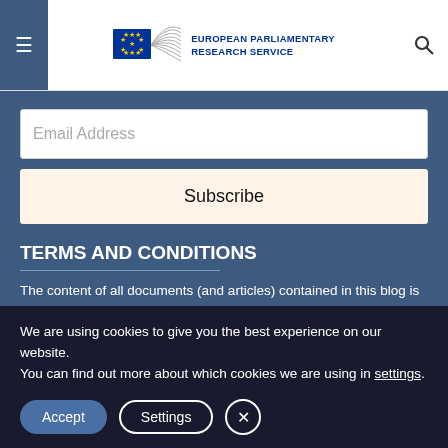European Parliamentary Research Service
Email Address
Subscribe
TERMS AND CONDITIONS
The content of all documents (and articles) contained in this blog is the sole responsibility of the author and any opinions expressed therein do
We are using cookies to give you the best experience on our website.
You can find out more about which cookies we are using in settings.
Accept
Settings